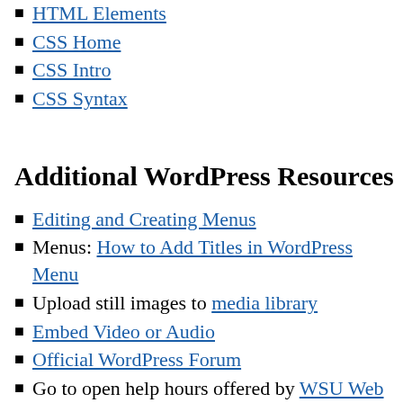HTML Elements
CSS Home
CSS Intro
CSS Syntax
Additional WordPress Resources
Editing and Creating Menus
Menus: How to Add Titles in WordPress Menu
Upload still images to media library
Embed Video or Audio
Official WordPress Forum
Go to open help hours offered by WSU Web Co Friday, 9:30-11:30, ITB 2025